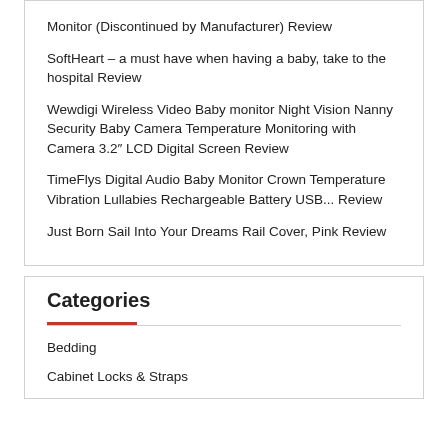Monitor (Discontinued by Manufacturer) Review
SoftHeart – a must have when having a baby, take to the hospital Review
Wewdigi Wireless Video Baby monitor Night Vision Nanny Security Baby Camera Temperature Monitoring with Camera 3.2″ LCD Digital Screen Review
TimeFlys Digital Audio Baby Monitor Crown Temperature Vibration Lullabies Rechargeable Battery USB... Review
Just Born Sail Into Your Dreams Rail Cover, Pink Review
Categories
Bedding
Cabinet Locks & Straps